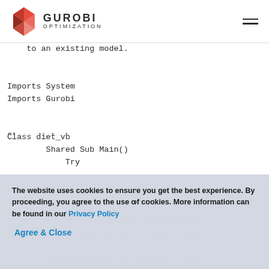GUROBI OPTIMIZATION
to an existing model.
Imports System
Imports Gurobi

Class diet_vb
    Shared Sub Main()
        Try
The website uses cookies to ensure you get the best experience. By proceeding, you agree to the use of cookies. More information can be found in our Privacy Policy
Agree & Close